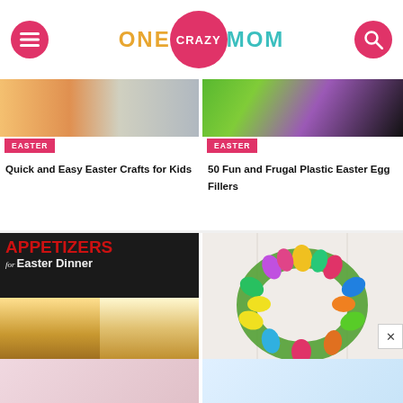ONE CRAZY MOM
[Figure (photo): Partial image showing tomatoes and bowl, top of article card for Quick and Easy Easter Crafts for Kids]
EASTER
Quick and Easy Easter Crafts for Kids
[Figure (photo): Partial image showing colorful Easter eggs on purple and green background, top of article card for 50 Fun and Frugal Plastic Easter Egg Fillers]
EASTER
50 Fun and Frugal Plastic Easter Egg Fillers
[Figure (photo): Appetizers for Easter Dinner article image showing text overlay and food photos]
[Figure (photo): Easter egg wreath made of colorful plastic eggs on a white door]